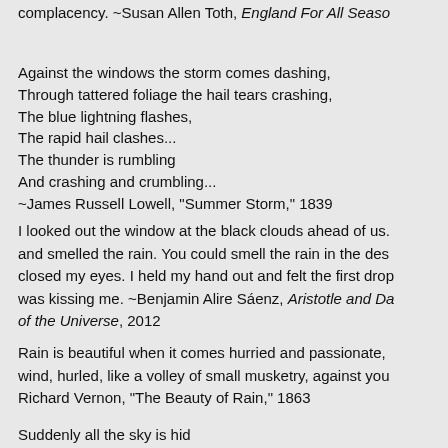complacency. ~Susan Allen Toth, England For All Seaso
Against the windows the storm comes dashing,
Through tattered foliage the hail tears crashing,
The blue lightning flashes,
The rapid hail clashes...
The thunder is rumbling
And crashing and crumbling...
~James Russell Lowell, "Summer Storm," 1839
I looked out the window at the black clouds ahead of us. and smelled the rain. You could smell the rain in the des closed my eyes. I held my hand out and felt the first drop was kissing me. ~Benjamin Alire Sáenz, Aristotle and Da of the Universe, 2012
Rain is beautiful when it comes hurried and passionate, wind, hurled, like a volley of small musketry, against you Richard Vernon, "The Beauty of Rain," 1863
Suddenly all the sky is hid